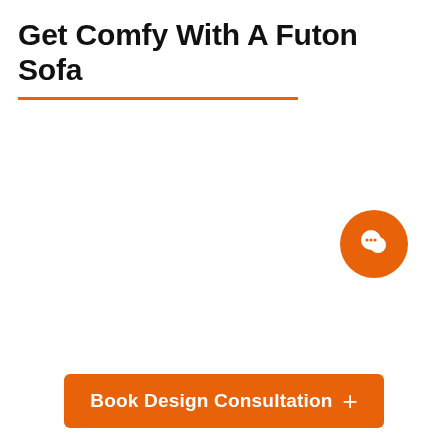Get Comfy With A Futon Sofa
[Figure (illustration): Orange horizontal rule divider line below the title]
[Figure (illustration): Orange circular chat/speech bubble button icon in the bottom right area]
[Figure (illustration): Orange 'Book Design Consultation +' button at the bottom center]